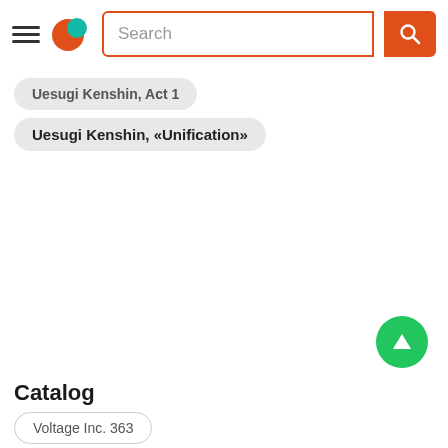[Figure (screenshot): Navigation bar with hamburger menu, orange/teal logo, search input box with orange border, and orange search button with magnifying glass icon]
Uesugi Kenshin, Act 1
Uesugi Kenshin, «Unification»
Catalog
Voltage Inc. 363